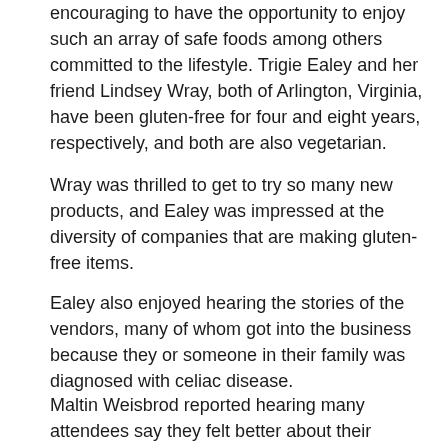encouraging to have the opportunity to enjoy such an array of safe foods among others committed to the lifestyle. Trigie Ealey and her friend Lindsey Wray, both of Arlington, Virginia, have been gluten-free for four and eight years, respectively, and both are also vegetarian.
Wray was thrilled to get to try so many new products, and Ealey was impressed at the diversity of companies that are making gluten-free items.
Ealey also enjoyed hearing the stories of the vendors, many of whom got into the business because they or someone in their family was diagnosed with celiac disease.
Maltin Weisbrod reported hearing many attendees say they felt better about their diagnosis knowing there were so many options available to them.